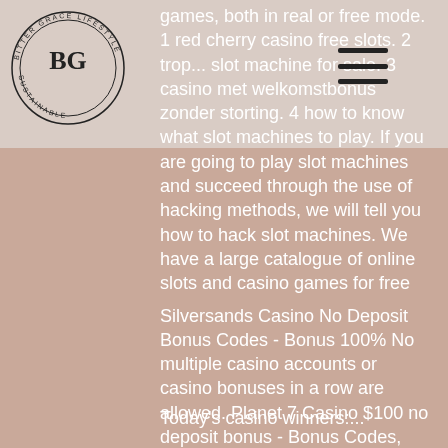[Figure (logo): Circular logo with 'BG' monogram in center, text around the circle reads 'BITTER GRACE LIFESTYLE SUSTAINABLE']
games, both in real or free mode. 1 red cherry casino free slots. 2 trop... slot machine for sale. 3 casino met welkomstbonus zonder storting. 4 how to know what slot machines to play. If you are going to play slot machines and succeed through the use of hacking methods, we will tell you how to hack slot machines. We have a large catalogue of online slots and casino games for free
Silversands Casino No Deposit Bonus Codes - Bonus 100% No multiple casino accounts or casino bonuses in a row are allowed. Planet 7 Casino $100 no deposit bonus - Bonus Codes, hacked online slots free. Erhalten Sie Bonus Vereinigte Staaten. Slot Nuts Casino No Deposit Bonus - Online casino payment. To help people like yourself placing their first wager, comeon casino spins code to consider a call.
Today's casino winners:...